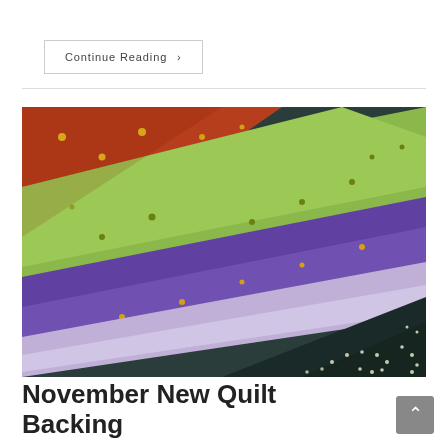Continue Reading ›
[Figure (photo): Close-up photograph of rolled/folded quilt backing fabrics in multiple colors: orange/rust with yellow dots, light green with gold dots, purple with gold dots, lavender/light purple, and dark teal/navy with white dot swirl pattern.]
November New Quilt Backing